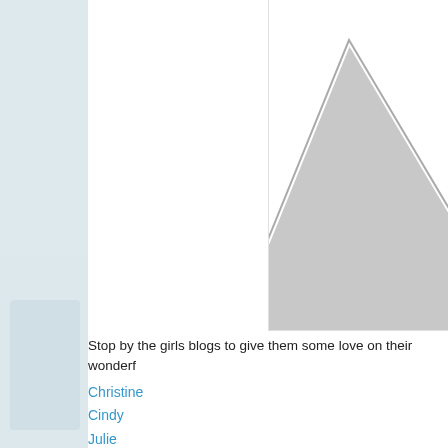[Figure (illustration): Light blue sidebar background with a faded circular portrait or decorative element in the lower portion]
[Figure (illustration): Partial grey triangle/arrow shape visible in upper right corner of a white panel]
Stop by the girls blogs to give them some love on their wonderf
Christine
Cindy
Julie
Latisha
Laura
Leslie